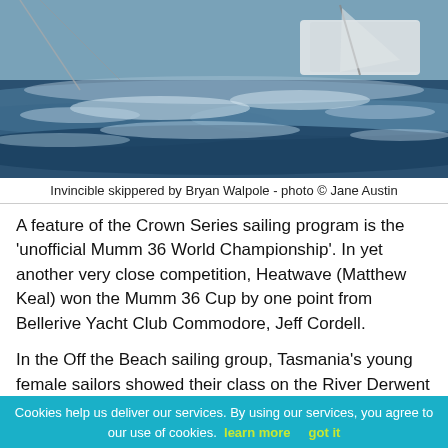[Figure (photo): Sailing boat 'Invincible' skippered by Bryan Walpole cutting through rough waves on the water, mast and sails visible, choppy sea conditions.]
Invincible skippered by Bryan Walpole - photo © Jane Austin
A feature of the Crown Series sailing program is the 'unofficial Mumm 36 World Championship'. In yet another very close competition, Heatwave (Matthew Keal) won the Mumm 36 Cup by one point from Bellerive Yacht Club Commodore, Jeff Cordell.
In the Off the Beach sailing group, Tasmania's young female sailors showed their class on the River Derwent over the two days. In the Laser 4.7s, Indy Cooper, sailing Sketchy, won six of seven races to finish on six points after a discard, clearly benefiting from intensive coaching and her hard work training in the new class.
[Figure (photo): Close-up of a sailing boat hull with 'ST 36' lettering visible, rigging lines against a blurred background of trees and water.]
Cookies help us deliver our services. By using our services, you agree to our use of cookies.  learn more     got it